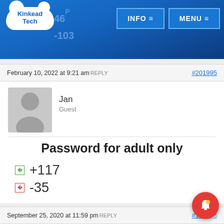Kinkead Tech — INFO ☰ MENU ☰
February 10, 2022 at 9:21 am REPLY  #201995
Jan
Guest
Password for adult only
+117
-35
September 25, 2020 at 11:59 pm REPLY  #119753
Timmasealand